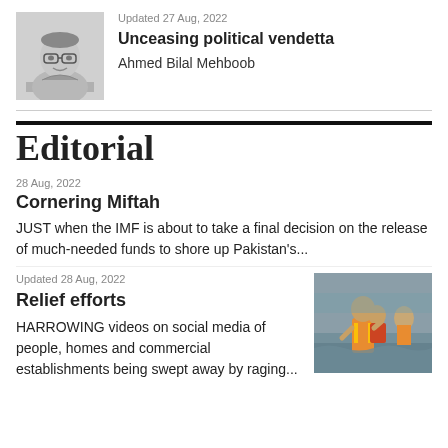[Figure (photo): Black and white author photo of Ahmed Bilal Mehboob]
Updated 27 Aug, 2022
Unceasing political vendetta
Ahmed Bilal Mehboob
Editorial
28 Aug, 2022
Cornering Miftah
JUST when the IMF is about to take a final decision on the release of much-needed funds to shore up Pakistan's...
Updated 28 Aug, 2022
Relief efforts
HARROWING videos on social media of people, homes and commercial establishments being swept away by raging...
[Figure (photo): Photo of rescue workers carrying people through floodwaters]